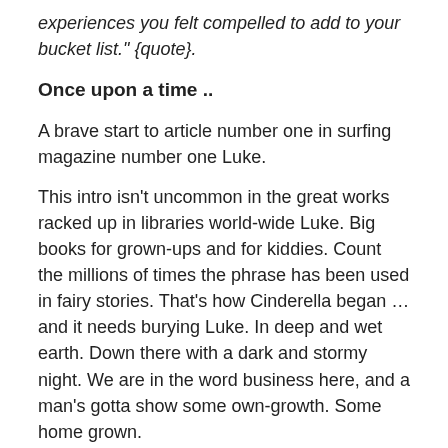experiences you felt compelled to add to your bucket list." {quote}.
Once upon a time ..
A brave start to article number one in surfing magazine number one Luke.
This intro isn't uncommon in the great works racked up in libraries world-wide Luke. Big books for grown-ups and for kiddies. Count the millions of times the phrase has been used in fairy stories. That's how Cinderella began … and it needs burying Luke. In deep and wet earth. Down there with a dark and stormy night. We are in the word business here, and a man's gotta show some own-growth. Some home grown.
.. you can even make stuff up these days, nobody cares.